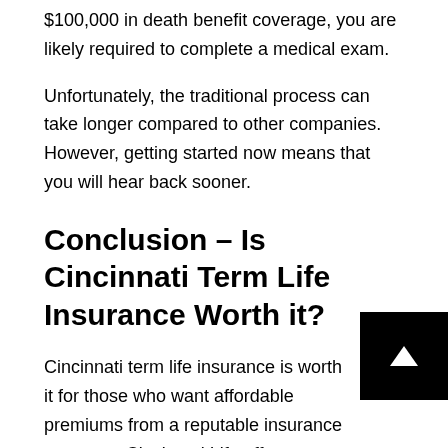$100,000 in death benefit coverage, you are likely required to complete a medical exam.
Unfortunately, the traditional process can take longer compared to other companies. However, getting started now means that you will hear back sooner.
Conclusion – Is Cincinnati Term Life Insurance Worth it?
Cincinnati term life insurance is worth it for those who want affordable premiums from a reputable insurance company. Cincinnati Life offers some of the lowest premiums, especially for those without medical issu...
Depending on your age, you can choose from a wide